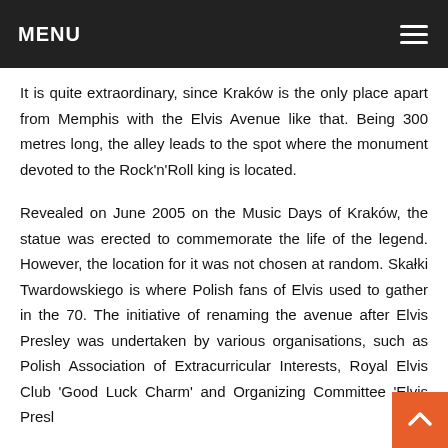MENU
It is quite extraordinary, since Kraków is the only place apart from Memphis with the Elvis Avenue like that. Being 300 metres long, the alley leads to the spot where the monument devoted to the Rock'n'Roll king is located.
Revealed on June 2005 on the Music Days of Kraków, the statue was erected to commemorate the life of the legend. However, the location for it was not chosen at random. Skałki Twardowskiego is where Polish fans of Elvis used to gather in the 70. The initiative of renaming the avenue after Elvis Presley was undertaken by various organisations, such as Polish Association of Extracurricular Interests, Royal Elvis Club 'Good Luck Charm' and Organizing Committee 'Elvis Presl…